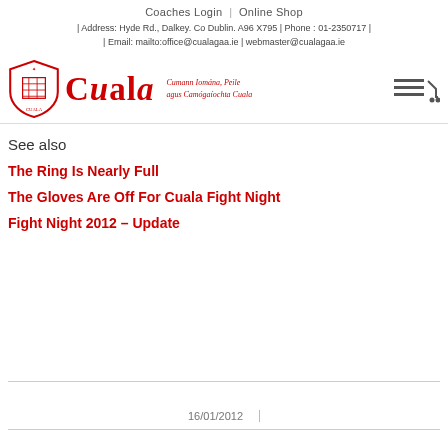Coaches Login | Online Shop
| Address: Hyde Rd., Dalkey. Co Dublin. A96 X795 | Phone : 01-2350717 | Email: mailto:office@cualagaa.ie | webmaster@cualagaa.ie
[Figure (logo): Cuala GAA logo with shield, 'Cuala' text in red, and Irish text 'Cumann Iomána, Peile agus Camógaíochta Cuala']
See also
The Ring Is Nearly Full
The Gloves Are Off For Cuala Fight Night
Fight Night 2012 – Update
16/01/2012